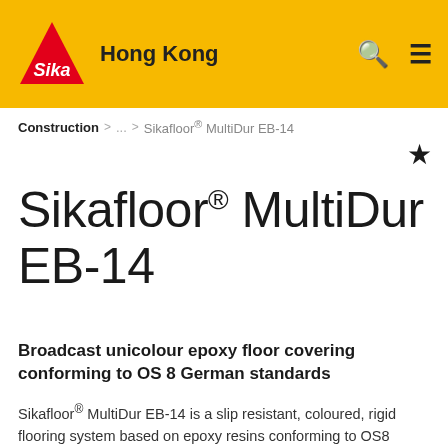Sika Hong Kong
Construction > ... > Sikafloor® MultiDur EB-14
Sikafloor® MultiDur EB-14
Broadcast unicolour epoxy floor covering conforming to OS 8 German standards
Sikafloor® MultiDur EB-14 is a slip resistant, coloured, rigid flooring system based on epoxy resins conforming to OS8 German standards.